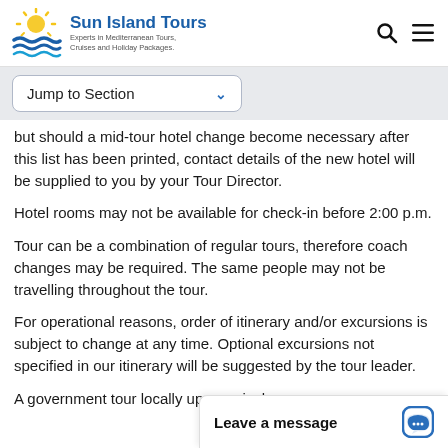[Figure (logo): Sun Island Tours logo with sun and waves icon in yellow and blue]
Sun Island Tours
Experts in Mediterranean Tours, Cruises and Holiday Packages.
Jump to Section
but should a mid-tour hotel change become necessary after this list has been printed, contact details of the new hotel will be supplied to you by your Tour Director.
Hotel rooms may not be available for check-in before 2:00 p.m.
Tour can be a combination of regular tours, therefore coach changes may be required. The same people may not be travelling throughout the tour.
For operational reasons, order of itinerary and/or excursions is subject to change at any time. Optional excursions not specified in our itinerary will be suggested by the tour leader.
A government tour locally upon arrival
Leave a message